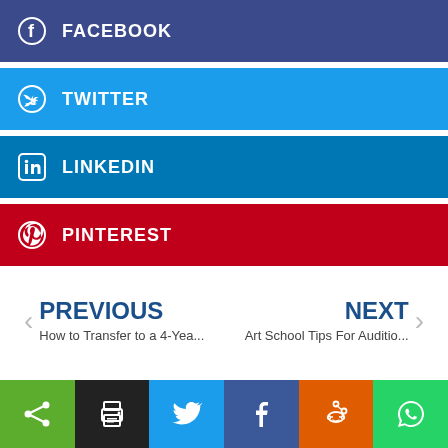FACEBOOK
TWITTER
LINKEDIN
PINTEREST
PREVIOUS
How to Transfer to a 4-Yea...
NEXT
Art School Tips For Auditio...
[Figure (infographic): Bottom social share bar with 6 buttons: share (green), print (black), twitter (light blue), facebook (dark blue), reddit (orange), whatsapp (green)]